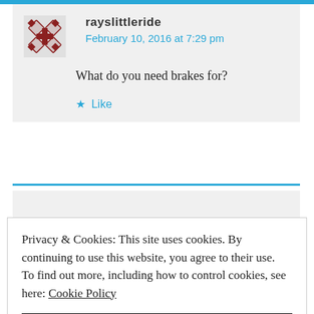rayslittleride
February 10, 2016 at 7:29 pm
What do you need brakes for?
★ Like
Privacy & Cookies: This site uses cookies. By continuing to use this website, you agree to their use.
To find out more, including how to control cookies, see here: Cookie Policy
CLOSE AND ACCEPT